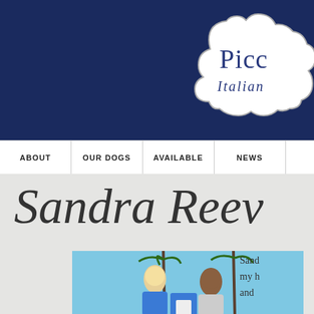[Figure (logo): Piccolo Italian logo badge - white cloud-shaped badge on dark navy background with text 'Picc' and 'Italian' visible]
ABOUT | OUR DOGS | AVAILABLE | NEWS
Sandra Reev
[Figure (photo): Two people outdoors with palm trees and blue sky in background]
Sand my h and